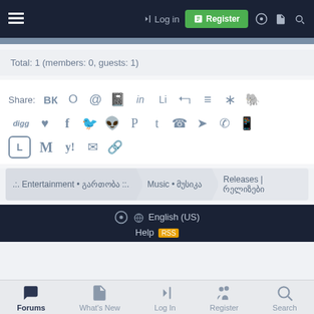Log in | Register
Total: 1 (members: 0, guests: 1)
Share: VK OK @ Blogger LinkedIn Li Pocket Buffer Diaspora Evernote digg Pocket Facebook Twitter Reddit Pinterest Tumblr WhatsApp Telegram Viber Skype Line Gmail Yahoo Mail Email Copy Link
.:. Entertainment • გართობა ::: | Music • მუსიკა | Releases | რელიზები
English (US) | Help | Forums | What's New | Log In | Register | Search